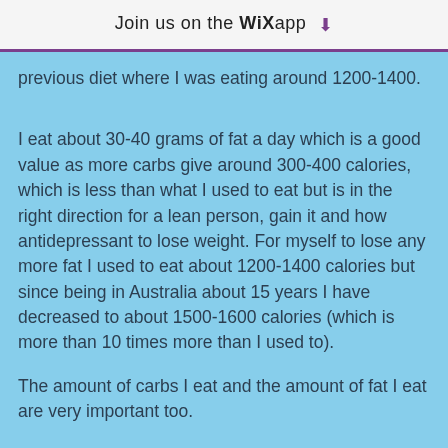Join us on the WiX app ↓
previous diet where I was eating around 1200-1400.
I eat about 30-40 grams of fat a day which is a good value as more carbs give around 300-400 calories, which is less than what I used to eat but is in the right direction for a lean person, gain it and how antidepressant to lose weight. For myself to lose any more fat I used to eat about 1200-1400 calories but since being in Australia about 15 years I have decreased to about 1500-1600 calories (which is more than 10 times more than I used to).
The amount of carbs I eat and the amount of fat I eat are very important too.